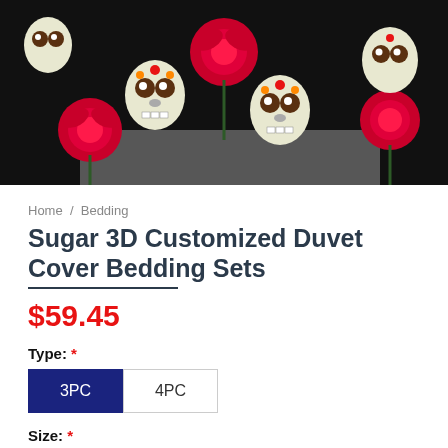[Figure (photo): Product image of Sugar 3D Customized Duvet Cover Bedding Set showing a black fabric with colorful sugar skulls and red roses pattern]
Home / Bedding
Sugar 3D Customized Duvet Cover Bedding Sets
$59.45
Type: *
3PC (selected), 4PC
Size: *
Twin (selected), Full, Queen, King